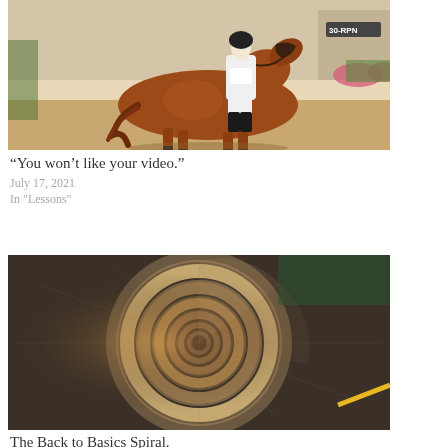[Figure (photo): A chestnut horse with rider in white dressage attire performing dressage in an arena. Sandy arena floor, pink flowers in background.]
“You won’t like your video.”
July 17, 2021
In "Lessons"
[Figure (photo): Aerial view of a double spiral staircase, presumably the Vatican Museums spiral staircase, shot from above looking down. Warm brown tones with green and grey accents.]
The Back to Basics Spiral.